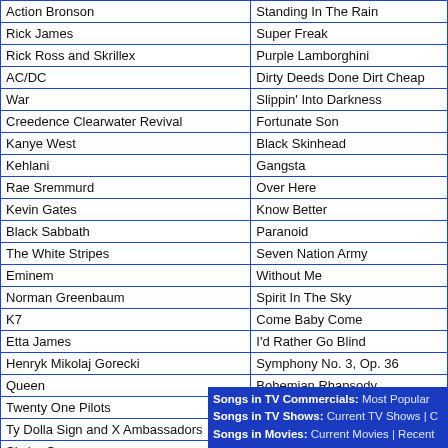| Artist | Song |
| --- | --- |
| Action Bronson | Standing In The Rain |
| Rick James | Super Freak |
| Rick Ross and Skrillex | Purple Lamborghini |
| AC/DC | Dirty Deeds Done Dirt Cheap |
| War | Slippin' Into Darkness |
| Creedence Clearwater Revival | Fortunate Son |
| Kanye West | Black Skinhead |
| Kehlani | Gangsta |
| Rae Sremmurd | Over Here |
| Kevin Gates | Know Better |
| Black Sabbath | Paranoid |
| The White Stripes | Seven Nation Army |
| Eminem | Without Me |
| Norman Greenbaum | Spirit In The Sky |
| K7 | Come Baby Come |
| Etta James | I'd Rather Go Blind |
| Henryk Mikolaj Gorecki | Symphony No. 3, Op. 36 |
| Queen | Bohemian Rhapsody |
| Twenty One Pilots | Heathens |
| Ty Dolla Sign and X Ambassadors | Sucker For Pain |
| Skylar Grey | Wreak Havoc |
| Grimes | Medieval Warfare |
| Confidential MX | I Started A Joke |
Songs in TV Commercials: Most Popular
Songs in TV Shows: Current TV Shows | C
Songs in Movies: Current Movies | Recent